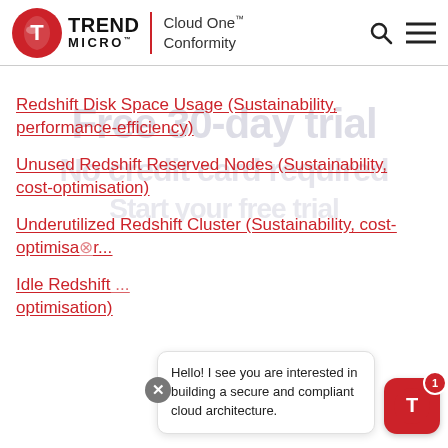[Figure (logo): Trend Micro logo with red circle icon, TREND MICRO brand text, red vertical divider, and Cloud One Conformity product name]
Redshift Disk Space Usage (Sustainability, performance-efficiency)
Unused Redshift Reserved Nodes (Sustainability, cost-optimisation)
Underutilized Redshift Cluster (Sustainability, cost-optimisation)
Idle Redshift ... optimisation)
Hello! I see you are interested in building a secure and compliant cloud architecture.